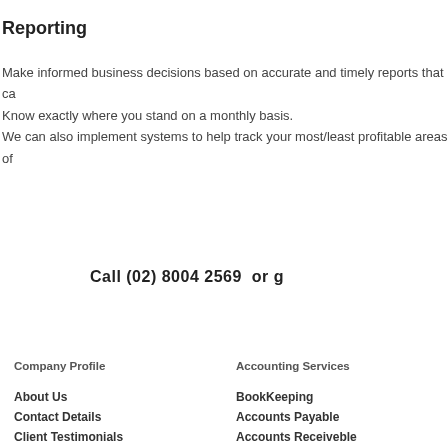Reporting
Make informed business decisions based on accurate and timely reports that ca
Know exactly where you stand on a monthly basis.
We can also implement systems to help track your most/least profitable areas of
Call (02) 8004 2569   or g
Company Profile
Accounting Services
About Us
BookKeeping
Contact Details
Accounts Payable
Client Testimonials
Accounts Receiveble
Information Centre
Pay Roll Processing